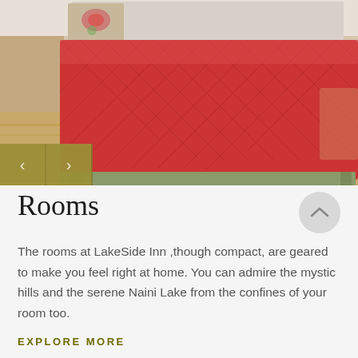[Figure (photo): Hotel room photo showing a bed with a red/coral quilted diamond-pattern bedspread, white pillows with floral accent pillow, light wood flooring, and a glimpse of outdoor seating. Navigation arrows (< >) overlay the bottom-left of the image on an olive/gold background.]
Rooms
The rooms at LakeSide Inn ,though compact, are geared to make you feel right at home. You can admire the mystic hills and the serene Naini Lake from the confines of your room too.
EXPLORE MORE